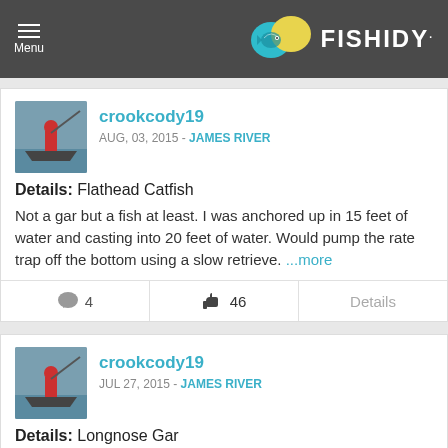[Figure (logo): Fishidy logo with teal and yellow fish speech bubble icons and FISHIDY. text in white on dark gray header bar. Menu icon (hamburger) with Menu label on the left.]
crookcody19
AUG, 03, 2015 - JAMES RIVER
Details: Flathead Catfish
Not a gar but a fish at least. I was anchored up in 15 feet of water and casting into 20 feet of water. Would pump the rate trap off the bottom using a slow retrieve. ...more
4  46  Details
crookcody19
JUL 27, 2015 - JAMES RIVER
Details: Longnose Gar
Just made 5 of these gar lures for Saturday's fishing trip! To be continued...